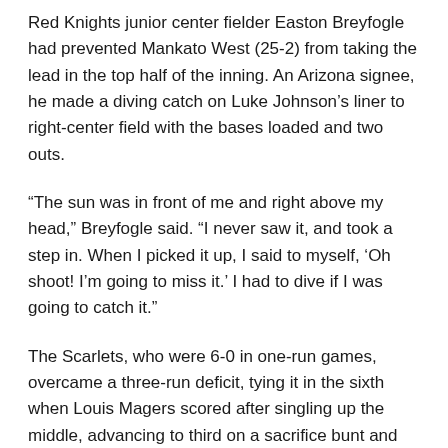Red Knights junior center fielder Easton Breyfogle had prevented Mankato West (25-2) from taking the lead in the top half of the inning. An Arizona signee, he made a diving catch on Luke Johnson's liner to right-center field with the bases loaded and two outs.
“The sun was in front of me and right above my head,” Breyfogle said. “I never saw it, and took a step in. When I picked it up, I said to myself, ‘Oh shoot! I’m going to miss it.’ I had to dive if I was going to catch it.”
The Scarlets, who were 6-0 in one-run games, overcame a three-run deficit, tying it in the sixth when Louis Magers scored after singling up the middle, advancing to third on a sacrifice bunt and an error on the play and getting home on a passed ball.